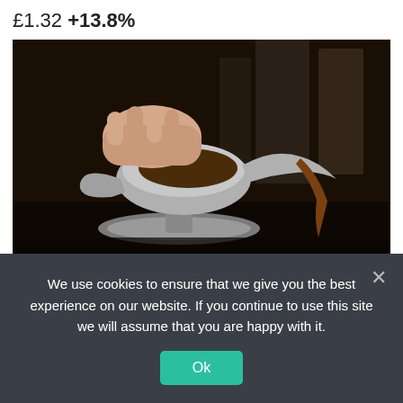£1.32 +13.8%
[Figure (photo): A hand pouring liquid (likely gravy or sauce) from a silver/metallic gravy boat or pouring vessel, with a dark blurred background]
Food manufacturers are facing a perfect
We use cookies to ensure that we give you the best experience on our website. If you continue to use this site we will assume that you are happy with it.